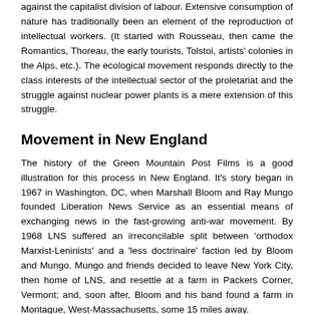against the capitalist division of labour. Extensive consumption of nature has traditionally been an element of the reproduction of intellectual workers. (It started with Rousseau, then came the Romantics, Thoreau, the early tourists, Tolstoi, artists' colonies in the Alps, etc.). The ecological movement responds directly to the class interests of the intellectual sector of the proletariat and the struggle against nuclear power plants is a mere extension of this struggle.
Movement in New England
The history of the Green Mountain Post Films is a good illustration for this process in New England. It's story began in 1967 in Washington, DC, when Marshall Bloom and Ray Mungo founded Liberation News Service as an essential means of exchanging news in the fast-growing anti-war movement. By 1968 LNS suffered an irreconcilable split between 'orthodox Marxist-Leninists' and a 'less doctrinaire' faction led by Bloom and Mungo. Mungo and friends decided to leave New York City, then home of LNS, and resettle at a farm in Packers Corner, Vermont; and, soon after, Bloom and his band found a farm in Montague, West-Massachusetts, some 15 miles away.